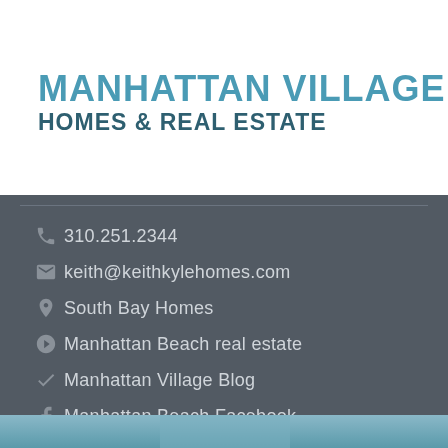[Figure (logo): Manhattan Village Homes & Real Estate logo with blue and dark teal text]
310.251.2344
keith@keithkylehomes.com
South Bay Homes
Manhattan Beach real estate
Manhattan Village Blog
Manhattan Beach Facebook
[Figure (photo): Partial photo strip at bottom of page]